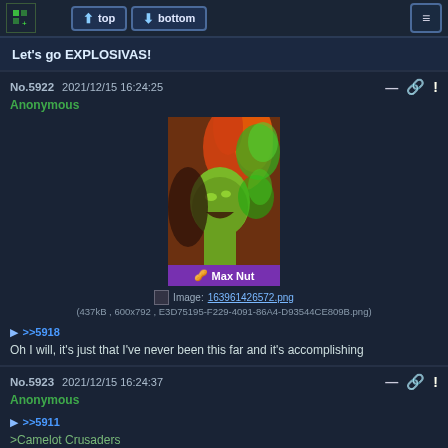top | bottom
Let's go EXPLOSIVAS!
No.5922  2021/12/15 16:24:25
Anonymous
[Figure (illustration): Anime/cartoon character with green skin, orange hair, glowing green energy effect, purple caption bar reading 'Max Nut' with a nut emoji. Image filename: 163961426572.png (437kB, 600x792, E3D75195-F229-4091-86A4-D93544CE809B.png)]
>>5918
Oh I will, it's just that I've never been this far and it's accomplishing
No.5923  2021/12/15 16:24:37
Anonymous
>>5911
>Camelot Crusaders
>Master Builders
>Hench 4 Life
>Three (Minus 1) Caballeros